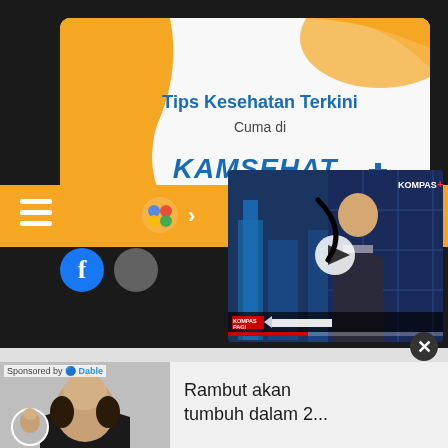[Figure (screenshot): Health tips banner with orange background, title 'Tips Kesehatan Terkini Cuma di' and health website logo]
[Figure (screenshot): Orange navigation bar with hamburger menu, Google/social icons, Facebook circle icon]
[Figure (screenshot): Kompas TV video player showing news anchor with KOMPAS PAGI label, play button overlay]
[Figure (screenshot): Advertisement sponsored by Dable showing bald man with text 'Rambut akan tumbuh dalam 2...']
Tips Kesehatan Terkini
Cuma di
Sponsored by Dable
Rambut akan tumbuh dalam 2...